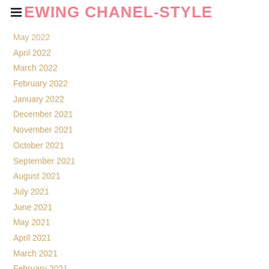SEWING CHANEL-STYLE
May 2022
April 2022
March 2022
February 2022
January 2022
December 2021
November 2021
October 2021
September 2021
August 2021
July 2021
June 2021
May 2021
April 2021
March 2021
February 2021
January 2021
December 2020